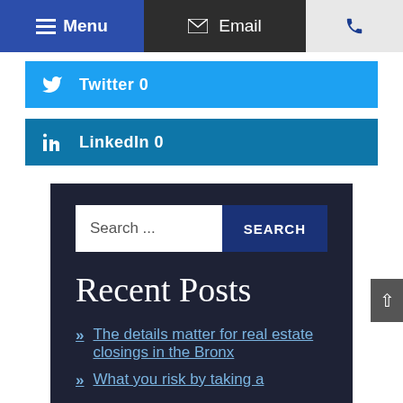Menu | Email | Phone
Twitter 0
LinkedIn 0
Search ...
Recent Posts
The details matter for real estate closings in the Bronx
What you risk by taking a